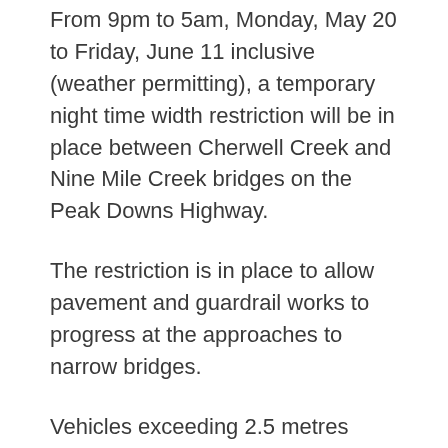From 9pm to 5am, Monday, May 20 to Friday, June 11 inclusive (weather permitting), a temporary night time width restriction will be in place between Cherwell Creek and Nine Mile Creek bridges on the Peak Downs Highway.
The restriction is in place to allow pavement and guardrail works to progress at the approaches to narrow bridges.
Vehicles exceeding 2.5 metres width are not permitted through the site during these times.
TMR asks operators to seek an alternative route, or reschedule your trip.
Meanwhile, the Bureau of Meteorology has issued a